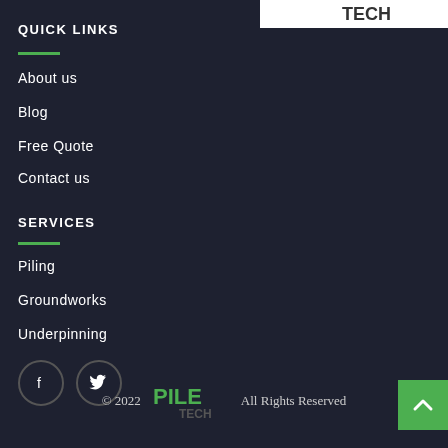[Figure (logo): PileTech logo in top right corner on white background]
QUICK LINKS
About us
Blog
Free Quote
Contact us
SERVICES
Piling
Groundworks
Underpinning
[Figure (illustration): Facebook and Twitter social media icon circles]
© 2022 PileTech All Rights Reserved